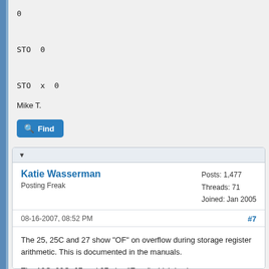0

STO  0

STO  x  0
Mike T.
[Figure (screenshot): Blue 'Find' button with magnifying glass icon]
▼
Katie Wasserman
Posting Freak
Posts: 1,477
Threads: 71
Joined: Jan 2005
08-16-2007, 08:52 PM
#7
The 25, 25C and 27 show "OF" on overflow during storage register arithmetic. This is documented in the manuals.

The 19C, 29C, 67 and 97 give "Error" which is also